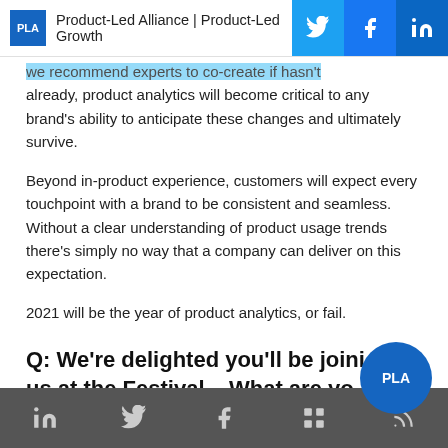PLA  Product-Led Alliance | Product-Led Growth
we recommend experts to co-create if hasn't already, product analytics will become critical to any brand's ability to anticipate these changes and ultimately survive.
Beyond in-product experience, customers will expect every touchpoint with a brand to be consistent and seamless. Without a clear understanding of product usage trends there's simply no way that a company can deliver on this expectation.
2021 will be the year of product analytics, or fail.
Q: We're delighted you'll be joining us at the Festival – What are yo
LinkedIn Twitter Facebook Slack RSS